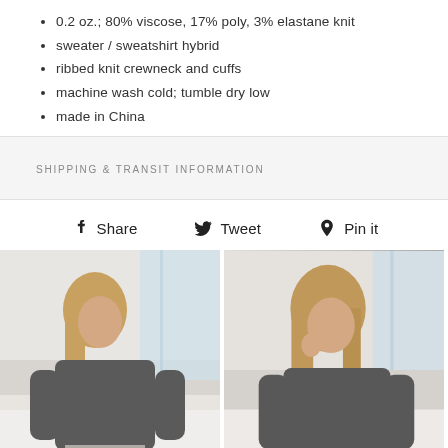0.2 oz.; 80% viscose, 17% poly, 3% elastane knit
sweater / sweatshirt hybrid
ribbed knit crewneck and cuffs
machine wash cold; tumble dry low
made in China
SHIPPING & TRANSIT INFORMATION
Share  Tweet  Pin it
[Figure (photo): Two side-by-side photos of a woman wearing a dark gray crewneck sweater, seated on a white couch in a bright room.]